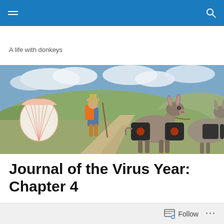A life with donkeys
[Figure (photo): Outdoor trail scene showing a hiker with backpack and walking stick on a dirt path through rolling green hills, with a large scallop shell pilgrimage symbol on the left, and a donkey loaded with black saddle bags facing the camera on the right, with another donkey partially visible behind it.]
Journal of the Virus Year: Chapter 4
Follow ...